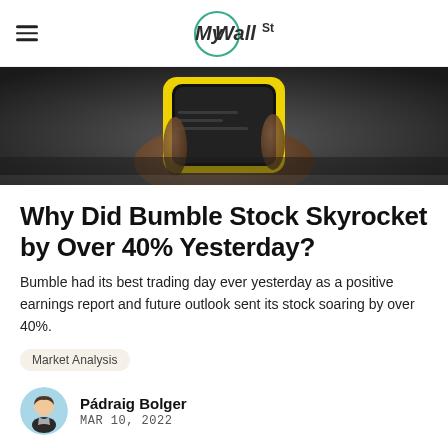MyWallSt
[Figure (photo): A hand holding a smartphone with a bright yellow phone case, close-up view against a dark blurred background.]
Why Did Bumble Stock Skyrocket by Over 40% Yesterday?
Bumble had its best trading day ever yesterday as a positive earnings report and future outlook sent its stock soaring by over 40%.
Market Analysis
Pádraig Bolger
MAR 10, 2022